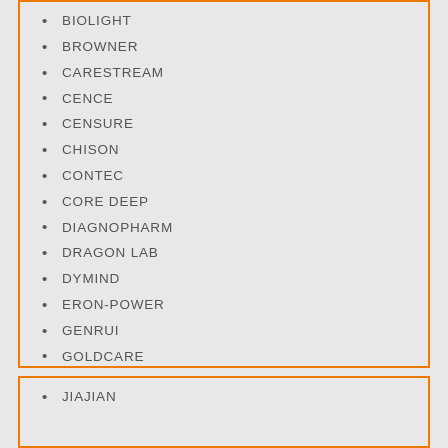BIOLIGHT
BROWNER
CARESTREAM
CENCE
CENSURE
CHISON
CONTEC
CORE DEEP
DIAGNOPHARM
DRAGON LAB
DYMIND
ERON-POWER
GENRUI
GOLDCARE
GOLDEN BULL
HAIER
HANGZHOU ALLTEST BIOTECH CO;. LTD
ICUBIO
IMPROVE
INTEX
JIAJIAN